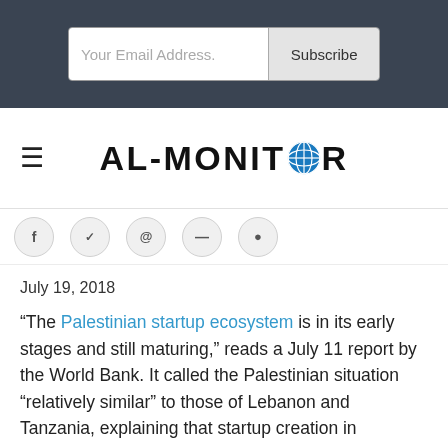[Figure (screenshot): Email subscription bar with 'Your Email Address.' input field and 'Subscribe' button on dark background]
[Figure (logo): AL-MONITOR logo with globe icon replacing the O, with hamburger menu icon on the left]
[Figure (infographic): Row of circular social media sharing icons, partially cropped]
July 19, 2018
“The Palestinian startup ecosystem is in its early stages and still maturing,” reads a July 11 report by the World Bank. It called the Palestinian situation “relatively similar” to those of Lebanon and Tanzania, explaining that startup creation in Palestine has increased by 34% since 2009. One Israeli newspaper reported that it takes only 15 days to establish a tech startup in Palestine compared to at least 30 days in